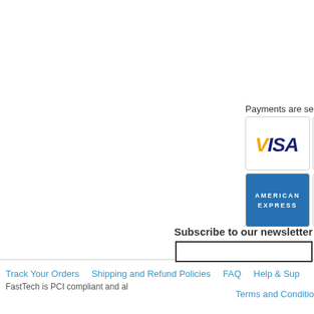Payments are se
[Figure (logo): VISA credit card logo in a bordered card box]
[Figure (logo): MasterCard logo (partially visible) in a bordered card box]
[Figure (logo): American Express logo in blue card box]
[Figure (logo): Diners Club logo (partially visible) in a bordered card box]
Track Your Orders   Shipping and Refund Policies   FAQ   Help & Sup
FastTech is PCI compliant and al
Subscribe to our newsletter
Terms and Conditio